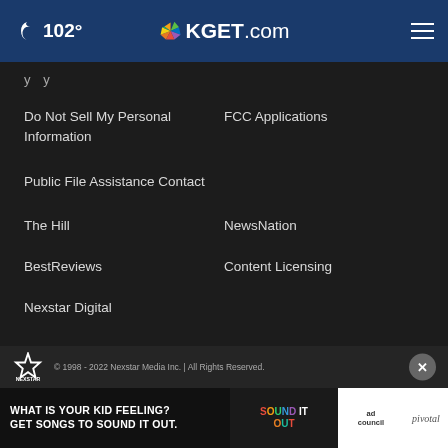102° KGET.com
y y
Do Not Sell My Personal Information
FCC Applications
Public File Assistance Contact
The Hill
NewsNation
BestReviews
Content Licensing
Nexstar Digital
© 1998 - 2022 Nexstar Media Inc. | All Rights Reserved.
[Figure (screenshot): Ad banner: 'What is your kid feeling? Get songs to sound it out.' with Sound It Out, Ad Council, and Pivotal logos]